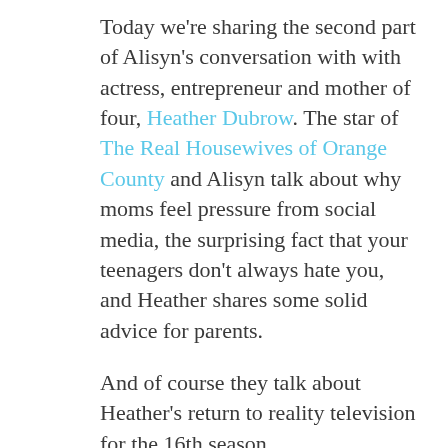Today we're sharing the second part of Alisyn's conversation with with actress, entrepreneur and mother of four, Heather Dubrow. The star of The Real Housewives of Orange County and Alisyn talk about why moms feel pressure from social media, the surprising fact that your teenagers don't always hate you, and Heather shares some solid advice for parents.
And of course they talk about Heather's return to reality television for the 16th season